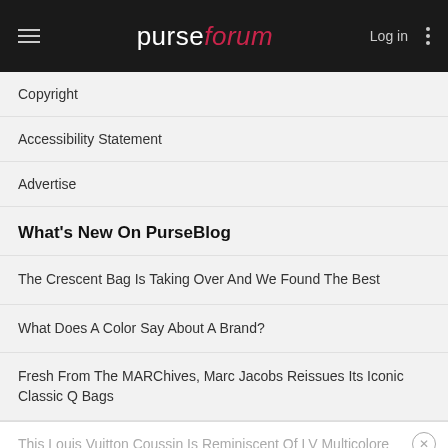purseforum — Log in
Copyright
Accessibility Statement
Advertise
What's New On PurseBlog
The Crescent Bag Is Taking Over And We Found The Best
What Does A Color Say About A Brand?
Fresh From The MARChives, Marc Jacobs Reissues Its Iconic Classic Q Bags
This Louis Vuitton Coussin Is Reminiscent Of LV Multicolore
The Dior Book Tote Is Here To Stay
The Best Bags We Spotted At Bal Harbour Shops This August